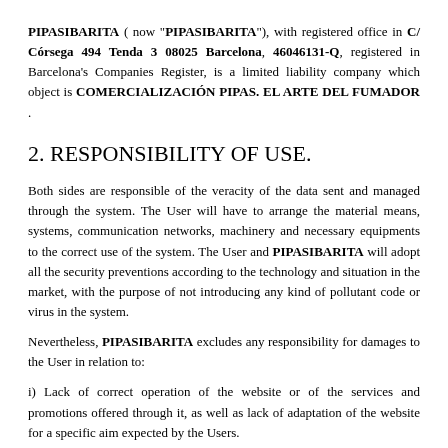PIPASIBARITA ( now "PIPASIBARITA"), with registered office in C/ Córsega 494 Tenda 3 08025 Barcelona, 46046131-Q, registered in Barcelona's Companies Register, is a limited liability company which object is COMERCIALIZACIÓN PIPAS. EL ARTE DEL FUMADOR .
2. RESPONSIBILITY OF USE.
Both sides are responsible of the veracity of the data sent and managed through the system. The User will have to arrange the material means, systems, communication networks, machinery and necessary equipments to the correct use of the system. The User and PIPASIBARITA will adopt all the security preventions according to the technology and situation in the market, with the purpose of not introducing any kind of pollutant code or virus in the system.
Nevertheless, PIPASIBARITA excludes any responsibility for damages to the User in relation to:
i) Lack of correct operation of the website or of the services and promotions offered through it, as well as lack of adaptation of the website for a specific aim expected by the Users.
ii) Presence of pollutant codes or virus or presence of other elements that could